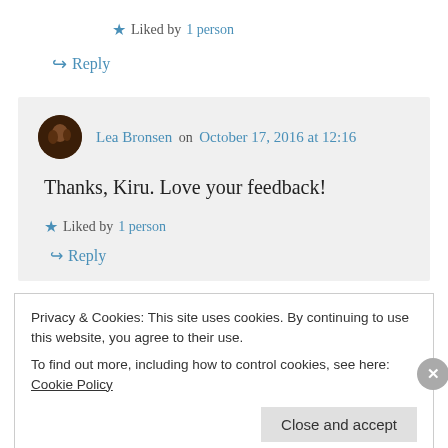★ Liked by 1 person
↪ Reply
Lea Bronsen on October 17, 2016 at 12:16
Thanks, Kiru. Love your feedback!
★ Liked by 1 person
↪ Reply
Privacy & Cookies: This site uses cookies. By continuing to use this website, you agree to their use. To find out more, including how to control cookies, see here: Cookie Policy
Close and accept